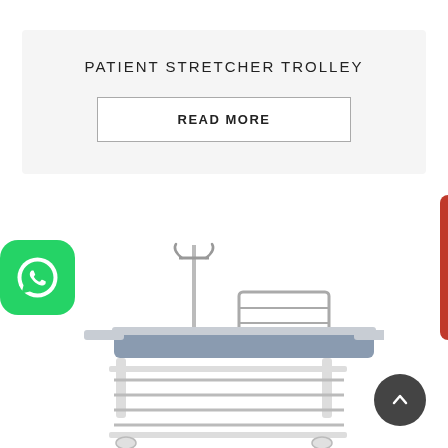PATIENT STRETCHER TROLLEY
READ MORE
[Figure (photo): Patient stretcher trolley with IV pole, side rails, and lower storage shelf on white background]
[Figure (logo): WhatsApp icon button (green rounded square)]
[Figure (other): Download PDF vertical red button on right side]
[Figure (other): Scroll to top dark circular button with up arrow]